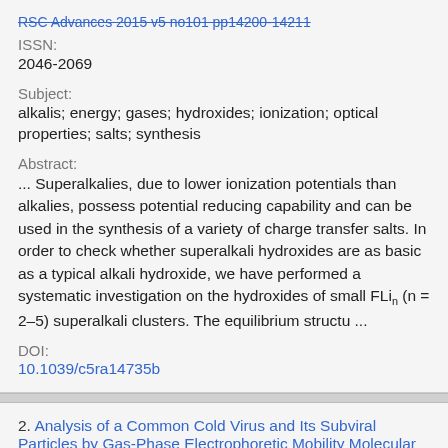RSC Advances 2015 v5 no101 pp14200-14211
ISSN:
2046-2069
Subject:
alkalis; energy; gases; hydroxides; ionization; optical properties; salts; synthesis
Abstract:
... Superalkalies, due to lower ionization potentials than alkalies, possess potential reducing capability and can be used in the synthesis of a variety of charge transfer salts. In order to check whether superalkali hydroxides are as basic as a typical alkali hydroxide, we have performed a systematic investigation on the hydroxides of small FLin (n = 2–5) superalkali clusters. The equilibrium structu ...
DOI:
10.1039/c5ra14735b
2. Analysis of a Common Cold Virus and Its Subviral Particles by Gas-Phase Electrophoretic Mobility Molecular Analysis